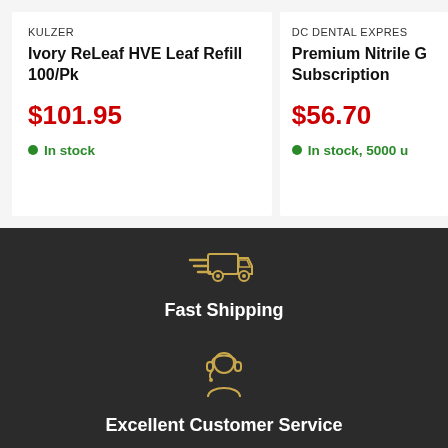KULZER
Ivory ReLeaf HVE Leaf Refill 100/Pk
$101.95
In stock
DC DENTAL EXPRES
Premium Nitrile G Subscription
$56.70
In stock, 5000 u
[Figure (illustration): Fast shipping truck icon in golden/yellow outline style with motion lines]
Fast Shipping
[Figure (illustration): Customer service headset person icon in golden/yellow outline style]
Excellent Customer Service